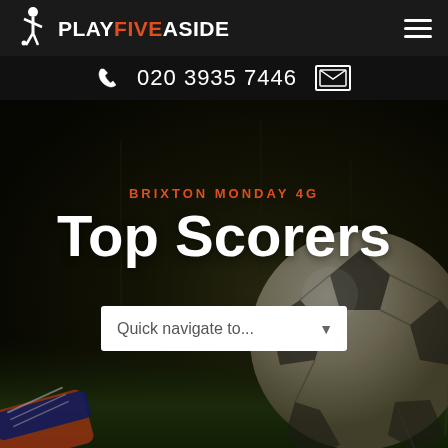PLAY FIVE A SIDE — navigation bar with logo and hamburger menu
020 3935 7446
[Figure (screenshot): Hero image showing a soccer ball on green grass with cleats/boots in the bottom left, dark moody background with a football pitch blur]
BRIXTON MONDAY 4G
Top Scorers
Quick navigate to...